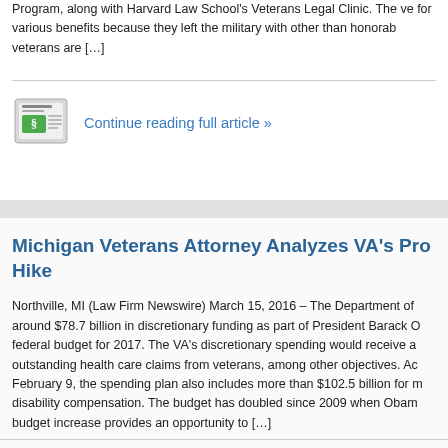Program, along with Harvard Law School's Veterans Legal Clinic. The veterans are ineligible for various benefits because they left the military with other than honorable discharges. These veterans are […]
[Figure (illustration): News icon: a newspaper with a green dollar/section symbol, styled as a small graphic]
Continue reading full article »
Michigan Veterans Attorney Analyzes VA's Pro- Hike
Northville, MI (Law Firm Newswire) March 15, 2016 – The Department of around $78.7 billion in discretionary funding as part of President Barack O federal budget for 2017. The VA's discretionary spending would receive a outstanding health care claims from veterans, among other objectives. Ac February 9, the spending plan also includes more than $102.5 billion for m disability compensation. The budget has doubled since 2009 when Obam budget increase provides an opportunity to […]